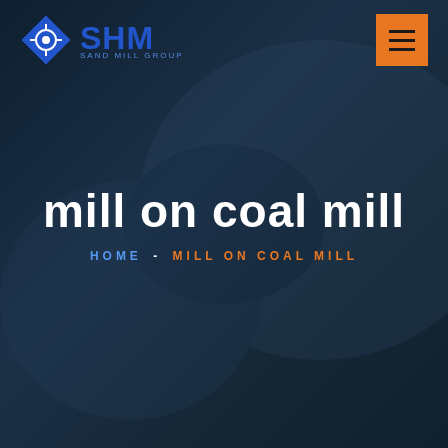[Figure (screenshot): Dark blue/navy background with blurred industrial or handshake imagery overlay, SHM company website header page]
SHM
mill on coal mill
HOME - MILL ON COAL MILL